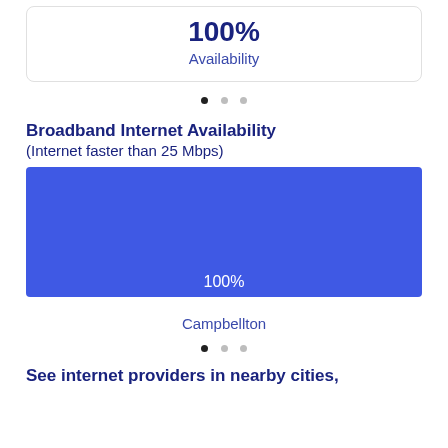100%
Availability
[Figure (bar-chart): Broadband Internet Availability]
Broadband Internet Availability
(Internet faster than 25 Mbps)
Campbellton
See internet providers in nearby cities,